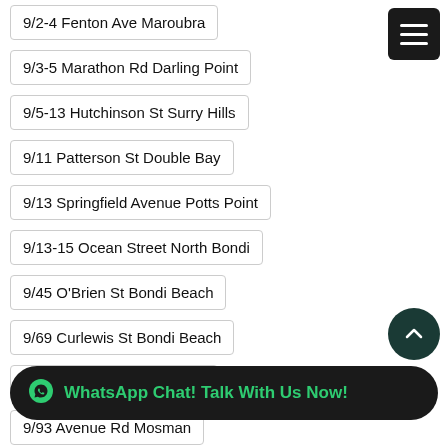9/2-4 Fenton Ave Maroubra
9/3-5 Marathon Rd Darling Point
9/5-13 Hutchinson St Surry Hills
9/11 Patterson St Double Bay
9/13 Springfield Avenue Potts Point
9/13-15 Ocean Street North Bondi
9/45 O'Brien St Bondi Beach
9/69 Curlewis St Bondi Beach
9/70 Cliff Road Wollongong
9/93 Avenue Rd Mosman
9/107 Ebley Street Bondi Junction
9/...
9/281A Edgecliff Road Woollahra
WhatsApp Chat! Talk With Us Now!